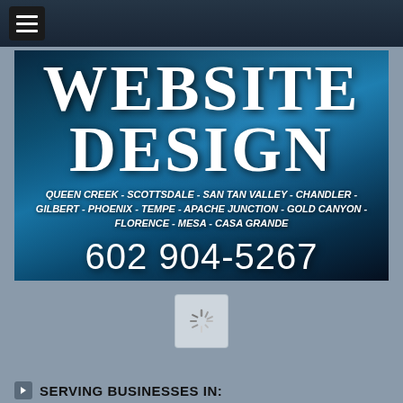Navigation menu bar with hamburger icon
[Figure (other): Website design promotional banner with teal/blue gradient background. Large bold white text reads WEBSITE DESIGN. Below in italic bold white: QUEEN CREEK - SCOTTSDALE - SAN TAN VALLEY - CHANDLER - GILBERT - PHOENIX - TEMPE - APACHE JUNCTION - GOLD CANYON - FLORENCE - MESA - CASA GRANDE. Phone number 602 904-5267 in large white text.]
[Figure (other): Loading spinner icon in a light gray rounded box, shown on gray background]
SERVING BUSINESSES IN:
San Tan Valley